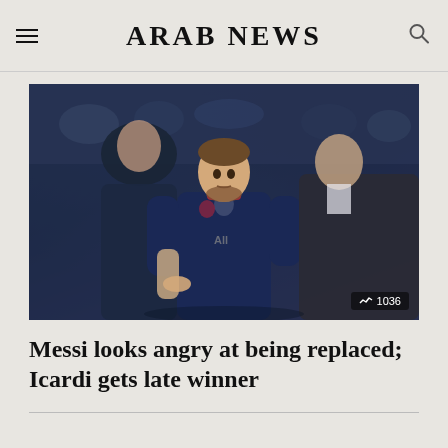ARAB NEWS
[Figure (photo): Lionel Messi in PSG navy blue jersey looking upset/angry while being substituted, with a man in a suit to his right and another person behind him, stadium crowd in background. Share count badge shows 1036.]
Messi looks angry at being replaced; Icardi gets late winner